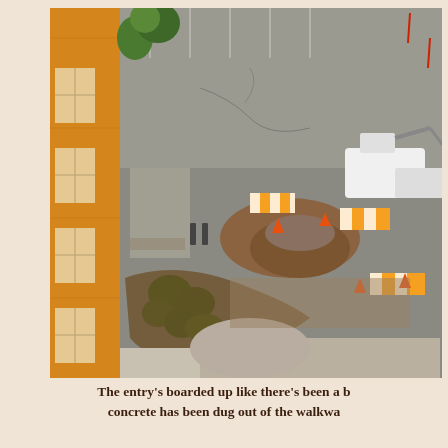[Figure (photo): Aerial/elevated view of a construction site next to a building with yellow/orange brick facade. The scene shows excavated ground, construction barriers with orange and white striping, traffic cones, an excavator machine, shrubs and landscaping, a parking lot, and workers. The construction appears to be digging up a walkway or driveway area.]
The entry's boarded up like there's been a b... concrete has been dug out of the walkwa...